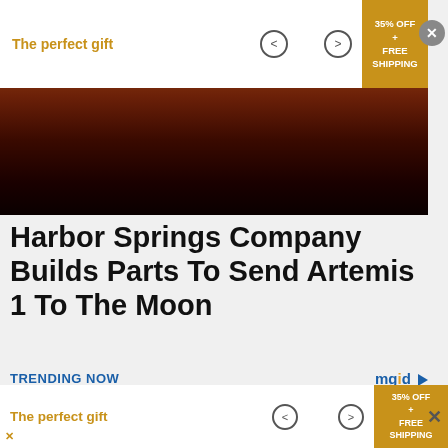[Figure (photo): Advertisement banner with 'The perfect gift' text in gold, navigation arrows, and '35% OFF + FREE SHIPPING' promo box]
[Figure (photo): Sunset/dusk landscape photo showing water reflection with dark reddish-orange tones]
Harbor Springs Company Builds Parts To Send Artemis 1 To The Moon
TRENDING NOW
[Figure (illustration): Two cartoon illustrations of a young man with brown hair and green shirt — one looking sad/worried and one looking happy/excited, on a purple-pink background]
[Figure (photo): Bottom advertisement banner: 'The perfect gift' with navigation arrows and '35% OFF + FREE SHIPPING' promo box]